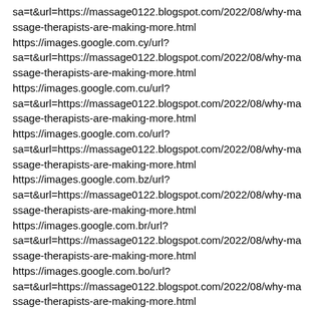sa=t&url=https://massage0122.blogspot.com/2022/08/why-massage-therapists-are-making-more.html
https://images.google.com.cy/url?
sa=t&url=https://massage0122.blogspot.com/2022/08/why-massage-therapists-are-making-more.html
https://images.google.com.cu/url?
sa=t&url=https://massage0122.blogspot.com/2022/08/why-massage-therapists-are-making-more.html
https://images.google.com.co/url?
sa=t&url=https://massage0122.blogspot.com/2022/08/why-massage-therapists-are-making-more.html
https://images.google.com.bz/url?
sa=t&url=https://massage0122.blogspot.com/2022/08/why-massage-therapists-are-making-more.html
https://images.google.com.br/url?
sa=t&url=https://massage0122.blogspot.com/2022/08/why-massage-therapists-are-making-more.html
https://images.google.com.bo/url?
sa=t&url=https://massage0122.blogspot.com/2022/08/why-massage-therapists-are-making-more.html